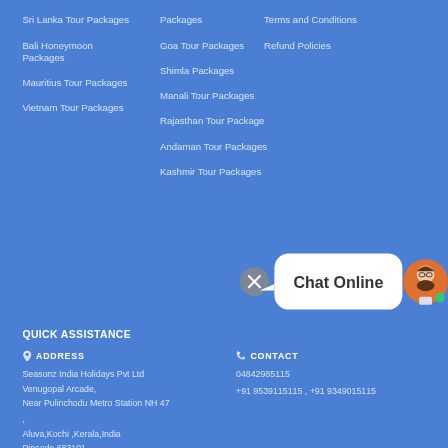Sri Lanka Tour Packages
Bali Honeymoon Packages
Mauritius Tour Packages
Vietnam Tour Packages
Packages
Goa Tour Packages
Shimla Packages
Manali Tour Packages
Rajasthan Tour Package
Andaman Tour Packages
Kashmir Tour Packages
Terms and Conditions
Refund Policies
[Figure (infographic): Chat Online bubble with close button and avatar of bearded man in orange circle with green indicator]
QUICK ASSISTANCE
ADDRESS
Seasonz India Holidays Pvt Ltd
Venugopal Arcade,
Near Pulinchodu Metro Station NH 47
,
Aluva,Kochi, Kerala,India
Pincode 683101
CONTACT
04842985115
+91 9539115115 , +91 9349015115
1800-121-2030
TOLL FREE NUMBER, CALL NOW
[Figure (infographic): Yellow phone call button circle]
WE ARE OFFICIAL
[Figure (infographic): Social media icons: Facebook, LinkedIn, Instagram, Twitter and more]